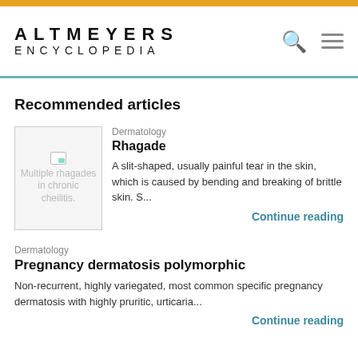ALTMEYERS ENCYCLOPEDIA
Recommended articles
[Figure (photo): Broken image placeholder: Multiple rhagades in chronic cheilitis.]
Dermatology
Rhagade
A slit-shaped, usually painful tear in the skin, which is caused by bending and breaking of brittle skin. S...
Continue reading
Dermatology
Pregnancy dermatosis polymorphic
Non-recurrent, highly variegated, most common specific pregnancy dermatosis with highly pruritic, urticaria...
Continue reading